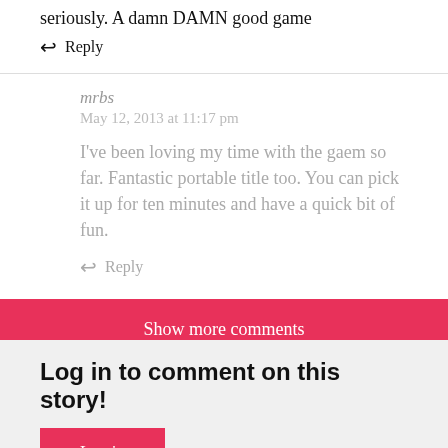seriously. A damn DAMN good game
↩ Reply
mrbs
May 12, 2013 at 11:17 pm
I've been loving my time with the gaem so far. Fantastic portable title too. You can pick it up for ten minutes and have a quick bit of fun.
↩ Reply
Show more comments
Log in to comment on this story!
Log in